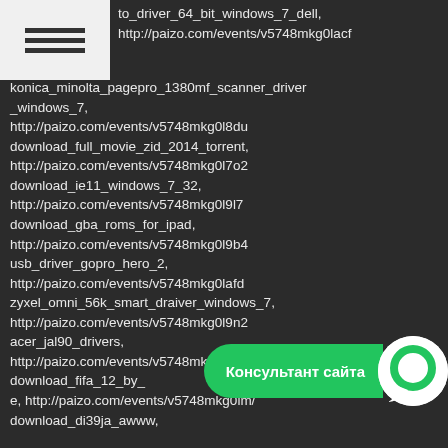to_driver_64_bit_windows_7_dell, http://paizo.com/events/v5748mkg0lacf konica_minolta_pagepro_1380mf_scanner_driver_windows_7, http://paizo.com/events/v5748mkg0l8du download_full_movie_zid_2014_torrent, http://paizo.com/events/v5748mkg0l7o2 download_ie11_windows_7_32, http://paizo.com/events/v5748mkg0l9l7 download_gba_roms_for_ipad, http://paizo.com/events/v5748mkg0l9b4 usb_driver_gopro_hero_2, http://paizo.com/events/v5748mkg0lafd zyxel_omni_56k_smart_draiver_windows_7, http://paizo.com/events/v5748mkg0l9n2 acer_jal90_drivers, http://paizo.com/events/v5748mkg0l9qa download_fifa_12_by_ e, http://paizo.com/events/v5748mkg0lm/ download_di39ja_awww,
[Figure (other): Consultant chat button overlay with green pill label 'Консультант сайта' and white circular icon with green ring]